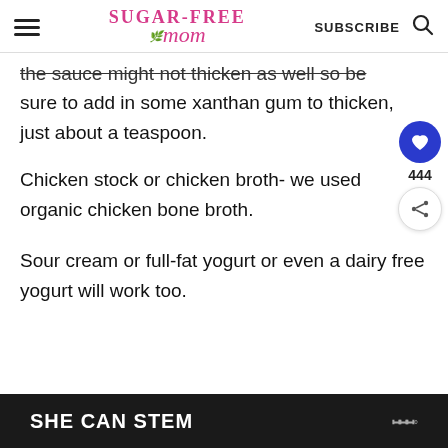Sugar-Free Mom | SUBSCRIBE
the sauce might not thicken as well so be sure to add in some xanthan gum to thicken, just about a teaspoon.
Chicken stock or chicken broth- we used organic chicken bone broth.
Sour cream or full-fat yogurt or even a dairy free yogurt will work too.
SHE CAN STEM